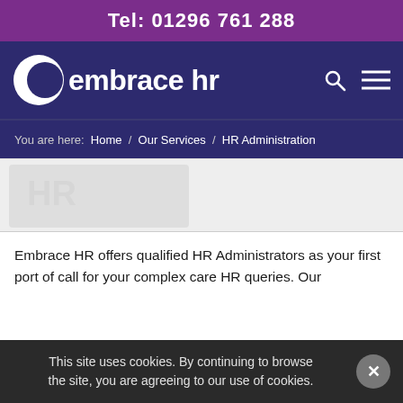Tel: 01296 761 288
[Figure (logo): Embrace HR logo with crescent moon icon and text 'embrace hr' with search and menu icons on navy background]
You are here:  Home  /  Our Services  /  HR Administration
[Figure (photo): Hero image area with faint watermark/background imagery]
Embrace HR offers qualified HR Administrators as your first port of call for your complex care HR queries. Our
This site uses cookies. By continuing to browse the site, you are agreeing to our use of cookies.